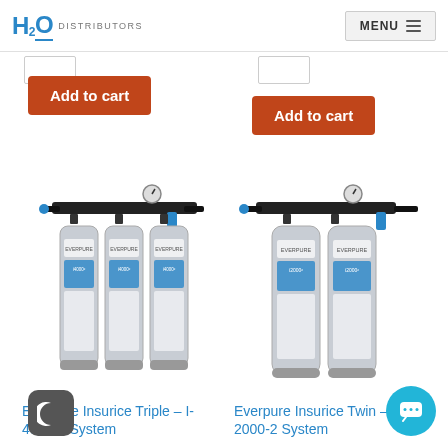H2O DISTRIBUTORS  MENU
[Figure (screenshot): Partial quantity input box left]
[Figure (screenshot): Partial quantity input box right]
Add to cart
Add to cart
[Figure (photo): Everpure Insurice Triple I-4000-2 System water filtration unit with three filter cartridges and black manifold header with pressure gauge]
[Figure (photo): Everpure Insurice Twin I-2000-2 System water filtration unit with two filter cartridges and black manifold header with pressure gauge]
Everpure Insurice Triple – I-4000-2 System
Everpure Insurice Twin – I-2000-2 System